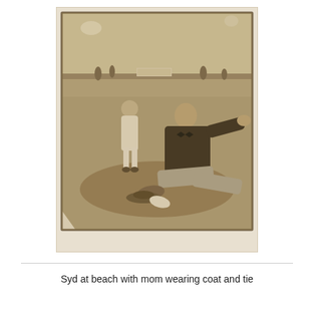[Figure (photo): An old sepia-toned photograph showing a man sitting on a beach wearing a dark coat and bow tie, with a young child standing beside him. Background shows a beach scene with people and structures. The photo is aged with worn edges and is mounted on a light background.]
Syd at beach with mom wearing coat and tie